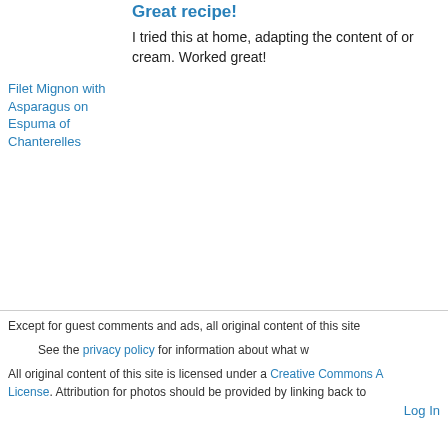Great recipe!
I tried this at home, adapting the content of or cream. Worked great!
Filet Mignon with Asparagus on Espuma of Chanterelles
Käsekuchen (German Cheesecake)
Except for guest comments and ads, all original content of this site
See the privacy policy for information about what w
All original content of this site is licensed under a Creative Commons A License. Attribution for photos should be provided by linking back to
Log In